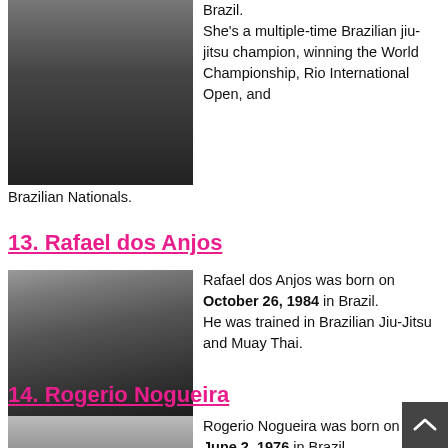[Figure (photo): Female MMA fighter posing with arms raised, wearing UFC sports top]
Brazil. She's a multiple-time Brazilian jiu-jitsu champion, winning the World Championship, Rio International Open, and Brazilian Nationals.
13. Rafael dos Anjos
[Figure (photo): Male MMA fighter in suit holding UFC championship belt]
Rafael dos Anjos was born on October 26, 1984 in Brazil. He was trained in Brazilian Jiu-Jitsu and Muay Thai.
14. Rogerio Nogueira
[Figure (photo): Partial photo of male fighter, cropped at bottom of page]
Rogerio Nogueira was born on June 2, 1976 in Brazil.